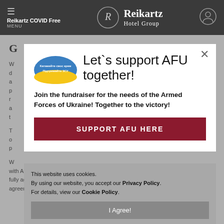Reikartz COVID Free | MENU | Reikartz Hotel Group
G...
W... d... a... p... r... a... th...
T... o... p...
W... with Alliance repre... fully agree with all ... agreement and ac...
[Figure (screenshot): Popup modal with Ukrainian flag badge, headline 'Let`s support AFU together!', subtext 'Join the fundraiser for the needs of the Armed Forces of Ukraine! Together to the victory!', and a dark red button 'SUPPORT AFU HERE'. Close (X) button at top right.]
This website uses cookies.
By using our website, you accept our Privacy Policy.
For details, view our Cookie Policy.
I Agree!